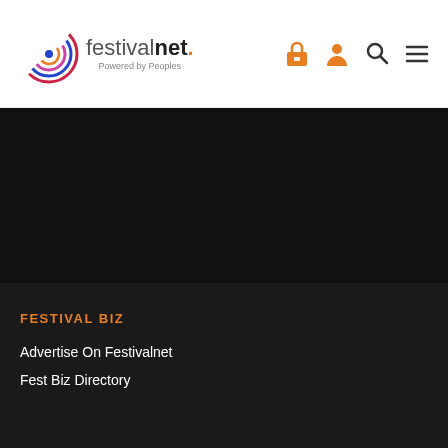[Figure (logo): FestivalNet logo with colorful circular swirl and text 'festivalnet.' with tagline 'Powered by Peoples']
[Figure (illustration): Navigation icons: lock/cart icon, person/user icon, search magnifier icon, hamburger menu icon — all in orange]
[Figure (photo): Dark black banner/hero area]
FESTIVAL BIZ
Advertise On Festivalnet
Fest Biz Directory